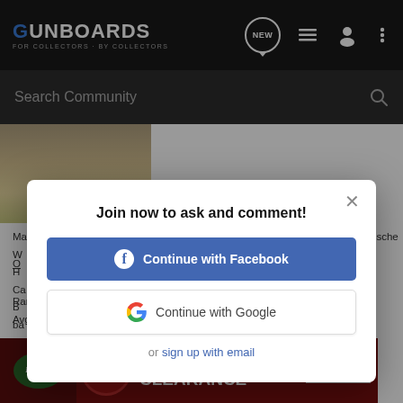GUNBOARDS - FOR COLLECTORS - BY COLLECTORS
Search Community
[Figure (screenshot): Partial photo thumbnail showing a floor/object, cropped]
Manufacturer: Volkseigene Betrieb (VEB) ("People-owned Enterprise") Mechanische...
Join now to ask and comment!
Continue with Facebook
Continue with Google
or sign up with email
Range: 0.9... Avg: 0.977...
[Figure (screenshot): Bass Pro Shops Hunting Clearance Bargain Cave advertisement banner with SHOP NOW button]